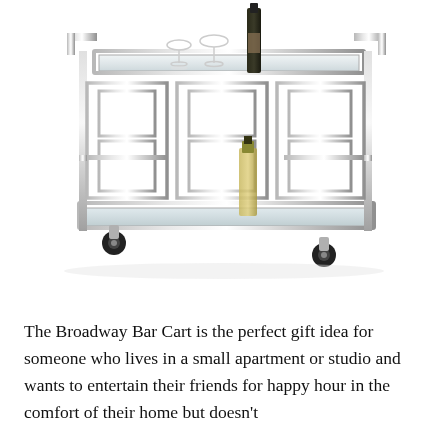[Figure (photo): A chrome/silver polished metal bar cart with geometric rectangular frame design, two mirror glass shelves, and black caster wheels. The cart holds wine glasses and bottles on the top and bottom shelves. White background.]
The Broadway Bar Cart is the perfect gift idea for someone who lives in a small apartment or studio and wants to entertain their friends for happy hour in the comfort of their home but doesn't